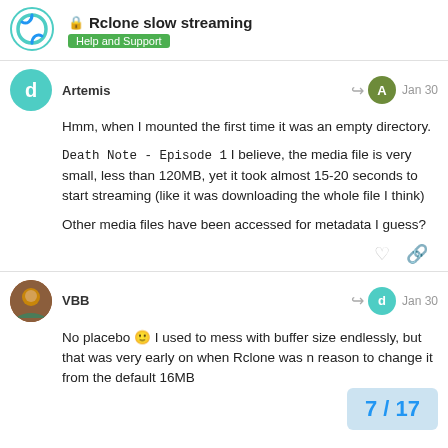🔒 Rclone slow streaming — Help and Support
Artemis — Jan 30
Hmm, when I mounted the first time it was an empty directory.
Death Note - Episode 1 I believe, the media file is very small, less than 120MB, yet it took almost 15-20 seconds to start streaming (like it was downloading the whole file I think)
Other media files have been accessed for metadata I guess?
VBB — Jan 30
No placebo 🙂 I used to mess with buffer size endlessly, but that was very early on when Rclone was n reason to change it from the default 16MB
7 / 17